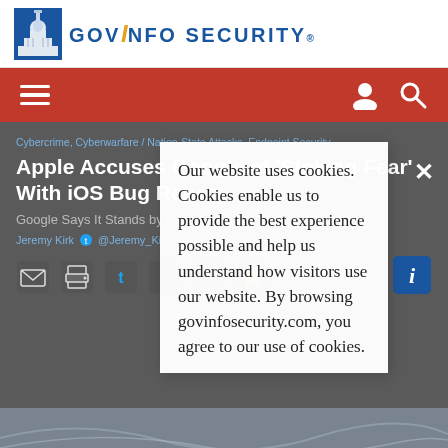[Figure (logo): GovInfo Security logo with Capitol building icon and stylized text]
Navigation bar with hamburger menu, user icon, and search icon on red background
Cybercrime, Cyberwarfare / Nation-State Attacks, Endpoint Security
Apple Accuses Google of 'Stoking Fear' With iOS Bug Report
Google Says It Stands by the Research
Jeremy Kirk • @Jeremy_Kirk • September 9, 2019
Our website uses cookies. Cookies enable us to provide the best experience possible and help us understand how visitors use our website. By browsing govinfosecurity.com, you agree to our use of cookies.
[Figure (photo): Partial photo visible at bottom of page]